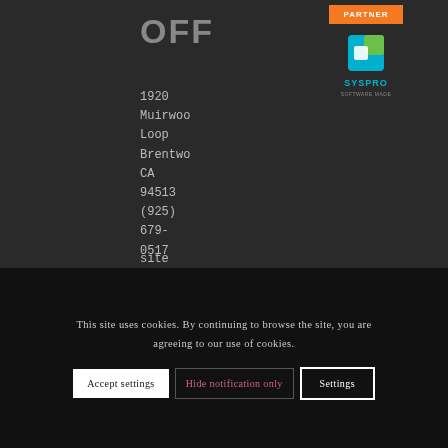OFF
1920
Muirwood
Loop
Brentwood
CA
94513
(925)
679-
0517
[Figure (logo): SYSPRO software logo with teal and green icon above the SYSPRO wordmark]
site produced by Gregory Wilker
This site uses cookies. By continuing to browse the site, you are agreeing to our use of cookies.
Accept settings
Hide notification only
Settings